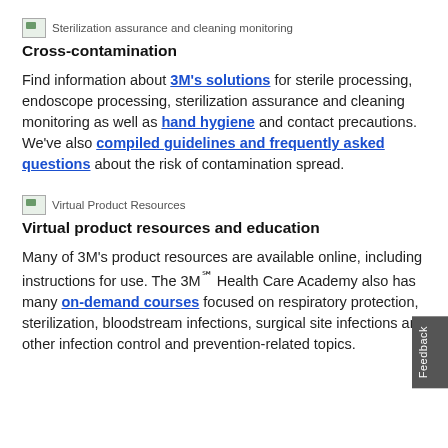[Figure (illustration): Small icon image for Sterilization assurance and cleaning monitoring section]
Cross-contamination
Find information about 3M's solutions for sterile processing, endoscope processing, sterilization assurance and cleaning monitoring as well as hand hygiene and contact precautions. We've also compiled guidelines and frequently asked questions about the risk of contamination spread.
[Figure (illustration): Small icon image for Virtual Product Resources section]
Virtual product resources and education
Many of 3M's product resources are available online, including instructions for use. The 3M℠ Health Care Academy also has many on-demand courses focused on respiratory protection, sterilization, bloodstream infections, surgical site infections and other infection control and prevention-related topics.